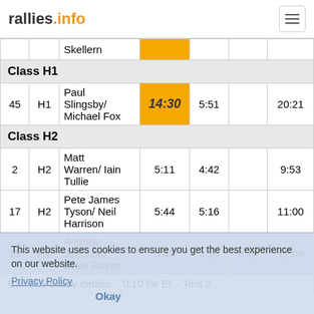rallies.info
| # | Class | Name | SS1 | SS2 | Pen | Total |
| --- | --- | --- | --- | --- | --- | --- |
|  |  | Skellern | (yellow) |  |  |  |
| Class H1 |  |  |  |  |  |  |
| 45 | H1 | Paul Slingsby/ Michael Fox | 14:30 | 5:51 |  | 20:21 |
| Class H2 |  |  |  |  |  |  |
| 2 | H2 | Matt Warren/ Iain Tullie | 5:11 | 4:42 |  | 9:53 |
| 17 | H2 | Pete James Tyson/ Neil Harrison | 5:44 | 5:16 |  | 11:00 |
| 18 | H2 | Andrew Johnson/ Dave Boyes | 5:43 | 5:16 | 0:10 | 11:09 |
|  |  | Car 18 Penalty details:- 0:10 for El - Test 2 |  |  |  |  |
This website uses cookies to ensure you get the best experience on our website. Privacy Policy  Okay